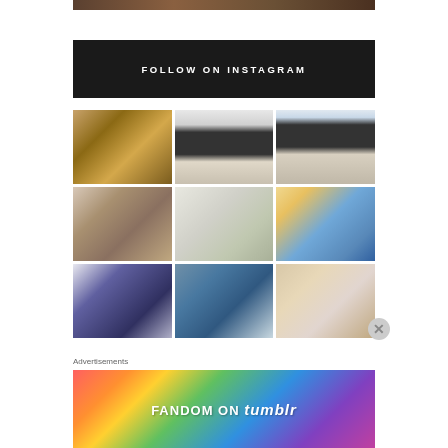[Figure (photo): Partial top banner photo visible at the very top of the page]
FOLLOW ON INSTAGRAM
[Figure (photo): Instagram grid of 9 photos: baked bread sticks, girl at front door, boy at front door, man with dog, indoor window with plant, family selfie outdoors, cat ears, man selfie outdoors, living room scene]
Advertisements
[Figure (infographic): Fandom on Tumblr advertisement banner with colorful gradient background and white text]